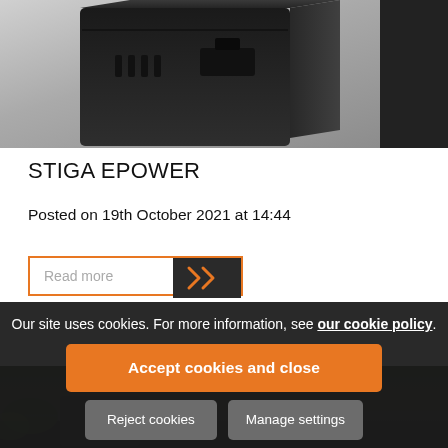[Figure (photo): Close-up photo of a dark grey/black rectangular battery or power unit device on a white background]
STIGA EPOWER
Posted on 19th October 2021 at 14:44
Read more
Our site uses cookies. For more information, see our cookie policy.
Accept cookies and close
Reject cookies
Manage settings
[Figure (photo): Partial view of outdoor garden machinery scene, dark background]